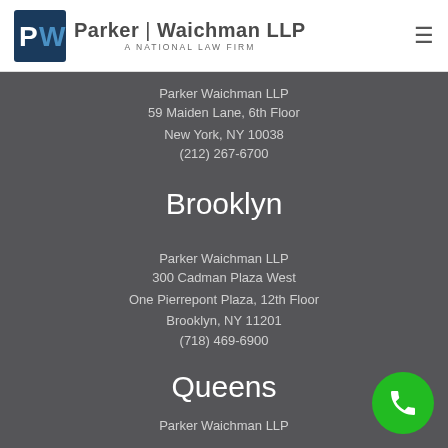Parker Waichman LLP — A National Law Firm
Parker Waichman LLP
59 Maiden Lane, 6th Floor
New York, NY 10038
(212) 267-6700
Brooklyn
Parker Waichman LLP
300 Cadman Plaza West
One Pierrepont Plaza, 12th Floor
Brooklyn, NY 11201
(718) 469-6900
Queens
Parker Waichman LLP